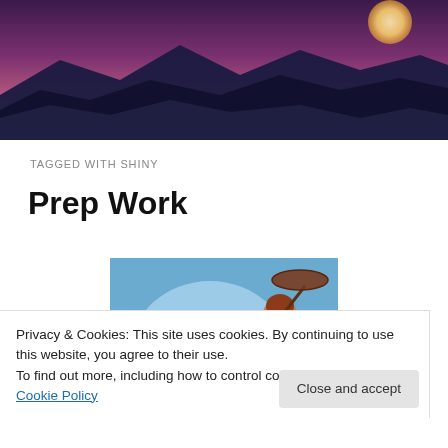[Figure (photo): Twilight sky with purple/pink hues, silhouetted mountains, and a full moon visible in the upper right.]
TAGGED WITH SHINY
Prep Work
[Figure (illustration): Illustration of a cartoon woman with red hair holding a parasol, with 'Kenze's Shiny' logo on a blue background.]
Privacy & Cookies: This site uses cookies. By continuing to use this website, you agree to their use.
To find out more, including how to control cookies, see here: Cookie Policy